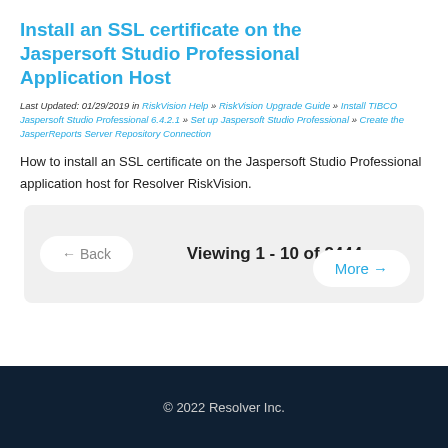Install an SSL certificate on the Jaspersoft Studio Professional Application Host
Last Updated: 01/29/2019 in RiskVision Help » RiskVision Upgrade Guide » Install TIBCO Jaspersoft Studio Professional 6.4.2.1 » Set up Jaspersoft Studio Professional » Create the JasperReports Server Repository Connection
How to install an SSL certificate on the Jaspersoft Studio Professional application host for Resolver RiskVision.
← Back    Viewing 1 - 10 of 2444    More →
© 2022 Resolver Inc.